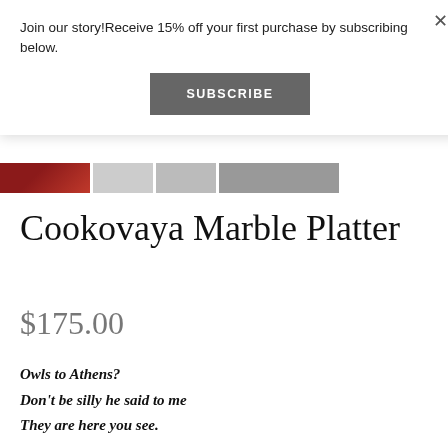Join our story!Receive 15% off your first purchase by subscribing below.
SUBSCRIBE
[Figure (photo): Partial image strip showing product thumbnails]
Cookovaya Marble Platter
$175.00
Owls to Athens?
Don't be silly he said to me
They are here you see.